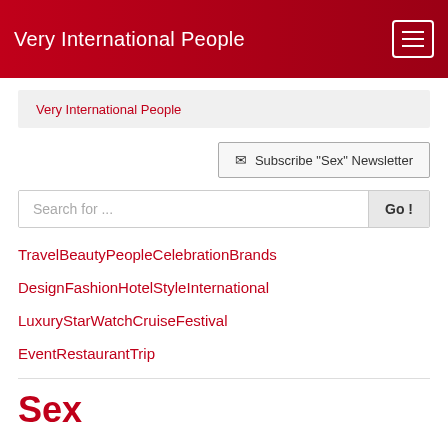Very International People
Very International People
Subscribe "Sex" Newsletter
Search for ...
Travel
Beauty
People
Celebration
Brands
Design
Fashion
Hotel
Style
International
Luxury
Star
Watch
Cruise
Festival
Event
Restaurant
Trip
Sex